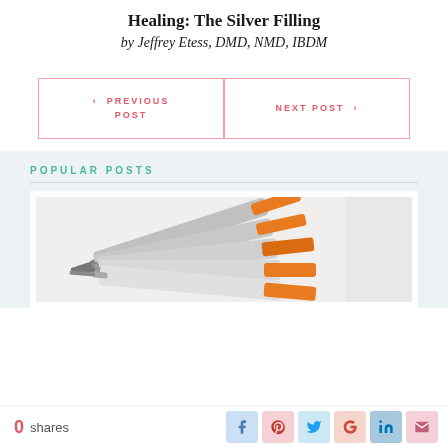Healing: The Silver Filling
by Jeffrey Etess, DMD, NMD, IBDM
< PREVIOUS POST
NEXT POST >
POPULAR POSTS
[Figure (photo): Multiple orange and grey medical syringes arranged together on a light background]
0 shares
Social share buttons: Facebook, Pinterest, Twitter, Google+, LinkedIn, Email